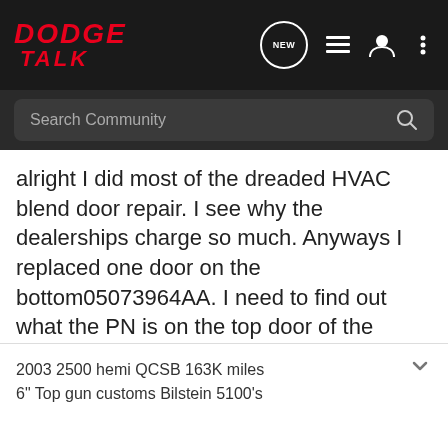DODGE TALK
alright I did most of the dreaded HVAC blend door repair. I see why the dealerships charge so much. Anyways I replaced one door on the bottom05073964AA. I need to find out what the PN is on the top door of the HVAC system. It was broke as well. Anyone know?
2003 2500 hemi QCSB 163K miles
6" Top gun customs Bilstein 5100's